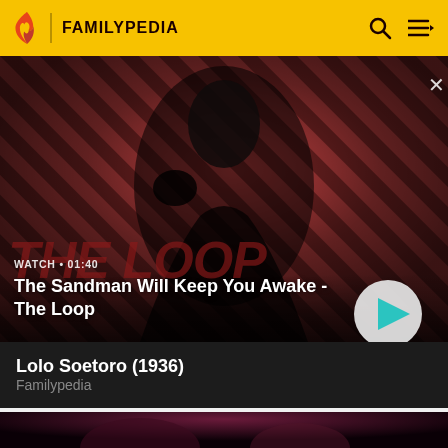FAMILYPEDIA
[Figure (screenshot): Video thumbnail showing a dark-cloaked figure with a raven on shoulder against a red and black diagonal stripe background. Text 'THE LOOP' visible as watermark. Watch duration label reads 'WATCH • 01:40'. A circular play button is visible in the lower right.]
The Sandman Will Keep You Awake - The Loop
Lolo Soetoro (1936)
Familypedia
[Figure (photo): Partial dark image of a figure, bottom of page, cropped]